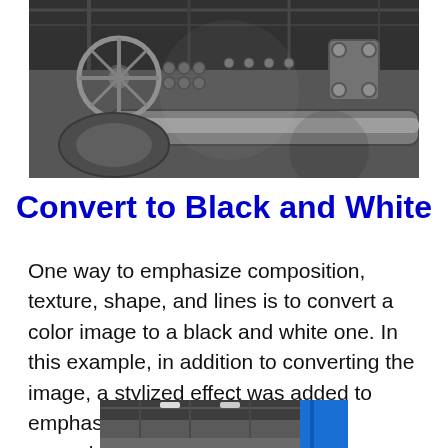[Figure (photo): Black and white photograph of industrial machinery — pipes, valves, bolts, and a large wheel/valve handle visible in a detailed close-up of heavy mechanical equipment.]
Convert to Black and White
One way to emphasize composition, texture, shape, and lines is to convert a color image to a black and white one. In this example, in addition to converting the image, a stylized effect was added to emphasize further the aspect of ruggedness.
[Figure (photo): Partial view of a factory or warehouse interior showing a blue structural element or wall panel with ceiling visible, color photograph.]